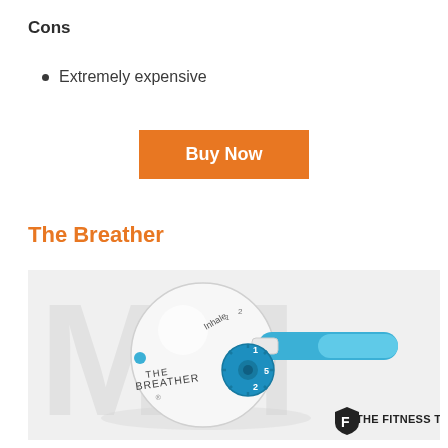Cons
Extremely expensive
Buy Now
The Breather
[Figure (photo): Photo of 'The Breather' respiratory training device — a white ball-shaped body with 'THE BREATHER' text and a blue handle/mouthpiece with adjustable dial controls. Watermark with large faint letters and 'THE FITNESS TRIBE' logo in the lower right corner.]